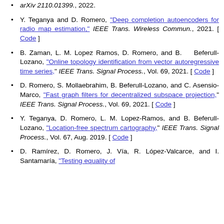arXiv 2110.01399., 2022.
Y. Teganya and D. Romero, "Deep completion autoencoders for radio map estimation," IEEE Trans. Wireless Commun., 2021. [ Code ]
B. Zaman, L. M. Lopez Ramos, D. Romero, and B. Beferull-Lozano, "Online topology identification from vector autoregressive time series," IEEE Trans. Signal Process., Vol. 69, 2021. [ Code ]
D. Romero, S. Mollaebrahim, B. Beferull-Lozano, and C. Asensio-Marco, "Fast graph filters for decentralized subspace projection," IEEE Trans. Signal Process., Vol. 69, 2021. [ Code ]
Y. Teganya, D. Romero, L. M. Lopez-Ramos, and B. Beferull-Lozano, "Location-free spectrum cartography," IEEE Trans. Signal Process., Vol. 67, Aug. 2019. [ Code ]
D. Ramírez, D. Romero, J. Vía, R. López-Valcarce, and I. Santamaría, "Testing equality of